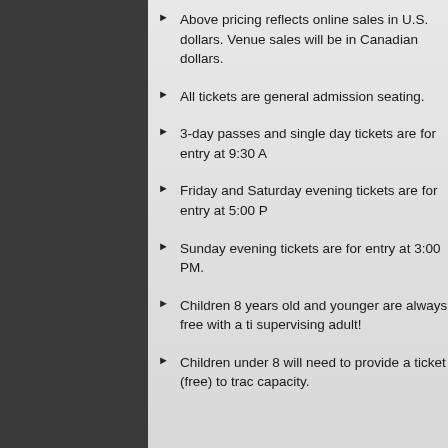Above pricing reflects online sales in U.S. dollars. Venue sales will be in Canadian dollars.
All tickets are general admission seating.
3-day passes and single day tickets are for entry at 9:30 A
Friday and Saturday evening tickets are for entry at 5:00 P
Sunday evening tickets are for entry at 3:00 PM.
Children 8 years old and younger are always free with a ticketed supervising adult!
Children under 8 will need to provide a ticket (free) to track capacity.